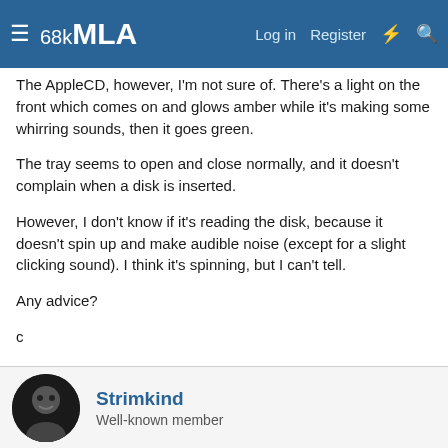68kMLA  Log in  Register
The AppleCD, however, I'm not sure of. There's a light on the front which comes on and glows amber while it's making some whirring sounds, then it goes green.
The tray seems to open and close normally, and it doesn't complain when a disk is inserted.
However, I don't know if it's reading the disk, because it doesn't spin up and make audible noise (except for a slight clicking sound). I think it's spinning, but I can't tell.
Any advice?
c
Strimkind
Well-known member